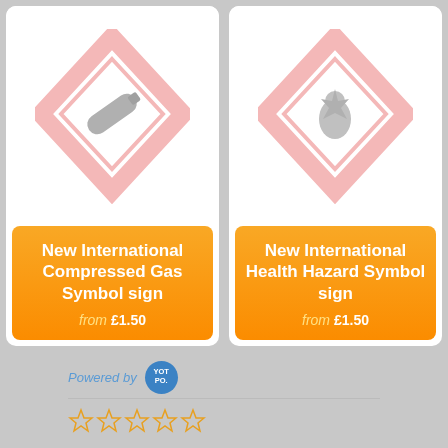[Figure (illustration): Product card: New International Compressed Gas Symbol sign with hazard diamond icon, price from £1.50]
[Figure (illustration): Product card: New International Health Hazard Symbol sign with hazard diamond icon, price from £1.50]
Powered by YOTPO
[Figure (other): Five empty star rating icons in orange/yellow outline]